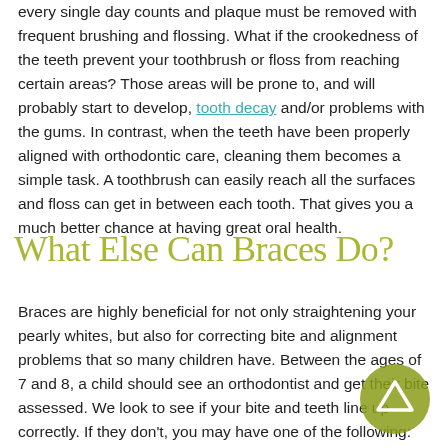every single day counts and plaque must be removed with frequent brushing and flossing. What if the crookedness of the teeth prevent your toothbrush or floss from reaching certain areas? Those areas will be prone to, and will probably start to develop, tooth decay and/or problems with the gums. In contrast, when the teeth have been properly aligned with orthodontic care, cleaning them becomes a simple task. A toothbrush can easily reach all the surfaces and floss can get in between each tooth. That gives you a much better chance at having great oral health.
What Else Can Braces Do?
Braces are highly beneficial for not only straightening your pearly whites, but also for correcting bite and alignment problems that so many children have. Between the ages of 7 and 8, a child should see an orthodontist and get their bite assessed. We look to see if your bite and teeth line up correctly. If they don't, you may have one of the following: openbite, crossbite, overbite, underbite, malocclusion, etc. All of these problems can make chewing, speaking, biting, etc., difficult. If a smile is left untreated, problems that were minor
[Figure (other): A circular navigation arrow button (olive/yellow-green circle with an upward-pointing arrow outline)]